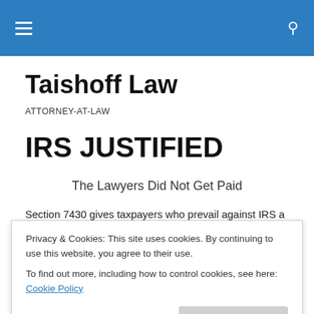Taishoff Law — navigation bar with hamburger menu and search icon
Taishoff Law
ATTORNEY-AT-LAW
IRS JUSTIFIED
The Lawyers Did Not Get Paid
Section 7430 gives taxpayers who prevail against IRS a
Privacy & Cookies: This site uses cookies. By continuing to use this website, you agree to their use.
To find out more, including how to control cookies, see here: Cookie Policy
Close and accept
Judge Gustafson for him to deny Maritza's application for